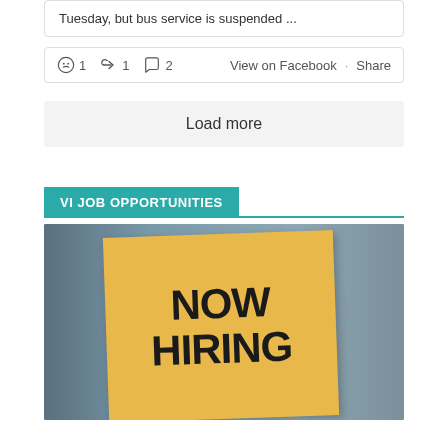Tuesday, but bus service is suspended ...
😮 1  ↪ 1  💬 2   View on Facebook · Share
Load more
VI JOB OPPORTUNITIES
[Figure (photo): Yellow sticky note with 'NOW HIRING' written in black marker, against a blurred background]